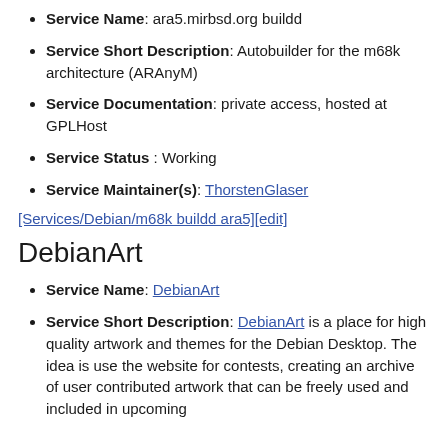Service Name: ara5.mirbsd.org buildd
Service Short Description: Autobuilder for the m68k architecture (ARAnyM)
Service Documentation: private access, hosted at GPLHost
Service Status : Working
Service Maintainer(s): ThorstenGlaser
[Services/Debian/m68k buildd ara5][edit]
DebianArt
Service Name: DebianArt
Service Short Description: DebianArt is a place for high quality artwork and themes for the Debian Desktop. The idea is use the website for contests, creating an archive of user contributed artwork that can be freely used and included in upcoming